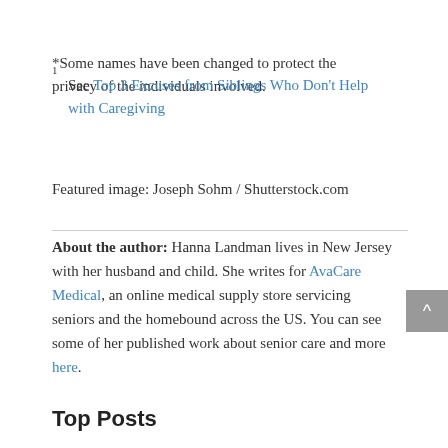*Some names have been changed to protect the privacy of the individuals involved.
1 See Top 3 Excuses from Siblings Who Don't Help with Caregiving
Featured image: Joseph Sohm / Shutterstock.com
About the author: Hanna Landman lives in New Jersey with her husband and child. She writes for AvaCare Medical, an online medical supply store servicing seniors and the homebound across the US. You can see some of her published work about senior care and more here.
Top Posts